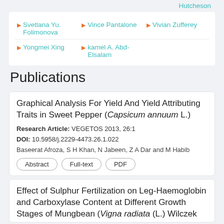Hutcheson
Svetlana Yu. Folimonova
Vince Pantalone
Vivian Zufferey
Yongmei Xing
kamel A. Abd-Elsalam
Publications
Graphical Analysis For Yield And Yield Attributing Traits in Sweet Pepper (Capsicum annuum L.)
Research Article: VEGETOS 2013, 26:1
DOI: 10.5958/j.2229-4473.26.1.022
Baseerat Afroza, S H Khan, N Jabeen, Z A Dar and M Habib
Abstract
Full-text
PDF
Effect of Sulphur Fertilization on Leg-Haemoglobin and Carboxylase Content at Different Growth Stages of Mungbean (Vigna radiata (L.) Wilczek